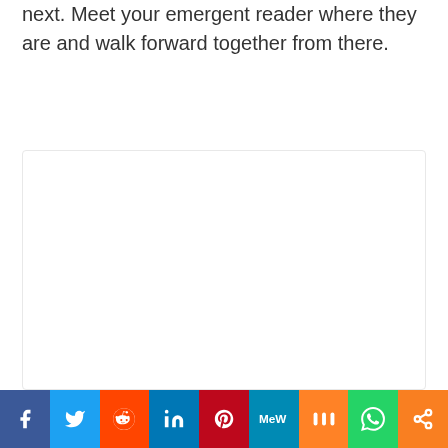next. Meet your emergent reader where they are and walk forward together from there.
[Figure (other): White rectangular box with light gray border, representing an embedded content/image area]
Social sharing bar: Facebook, Twitter, Reddit, LinkedIn, Pinterest, MeWe, Mix, WhatsApp, More